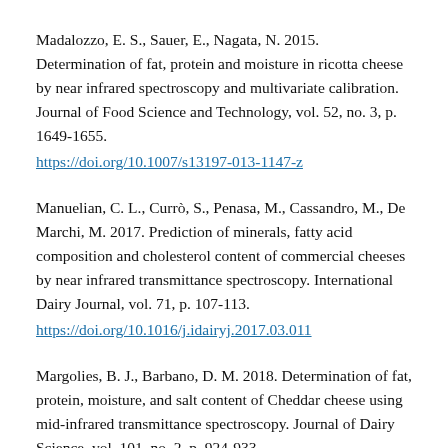Madalozzo, E. S., Sauer, E., Nagata, N. 2015. Determination of fat, protein and moisture in ricotta cheese by near infrared spectroscopy and multivariate calibration. Journal of Food Science and Technology, vol. 52, no. 3, p. 1649-1655. https://doi.org/10.1007/s13197-013-1147-z
Manuelian, C. L., Currò, S., Penasa, M., Cassandro, M., De Marchi, M. 2017. Prediction of minerals, fatty acid composition and cholesterol content of commercial cheeses by near infrared transmittance spectroscopy. International Dairy Journal, vol. 71, p. 107-113. https://doi.org/10.1016/j.idairyj.2017.03.011
Margolies, B. J., Barbano, D. M. 2018. Determination of fat, protein, moisture, and salt content of Cheddar cheese using mid-infrared transmittance spectroscopy. Journal of Dairy Science, vol. 101, no. 2, p. 924-933. https://doi.org/10.3168/jds.2017-13431